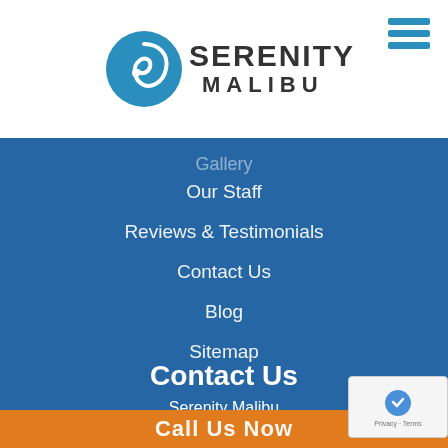[Figure (logo): Serenity Malibu logo with teal circular swirl icon and text 'SERENITY MALIBU']
Gallery
Our Staff
Reviews & Testimonials
Contact Us
Blog
Sitemap
Contact Us
Serenity Malibu
6021 Galahad Dr
Malibu, CA 90265
Call Us Now